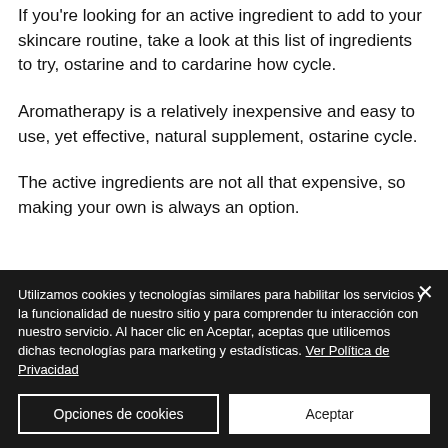If you're looking for an active ingredient to add to your skincare routine, take a look at this list of ingredients to try, ostarine and to cardarine how cycle.
Aromatherapy is a relatively inexpensive and easy to use, yet effective, natural supplement, ostarine cycle.
The active ingredients are not all that expensive, so making your own is always an option.
Utilizamos cookies y tecnologías similares para habilitar los servicios y la funcionalidad de nuestro sitio y para comprender tu interacción con nuestro servicio. Al hacer clic en Aceptar, aceptas que utilicemos dichas tecnologías para marketing y estadísticas. Ver Política de Privacidad
Opciones de cookies
Aceptar